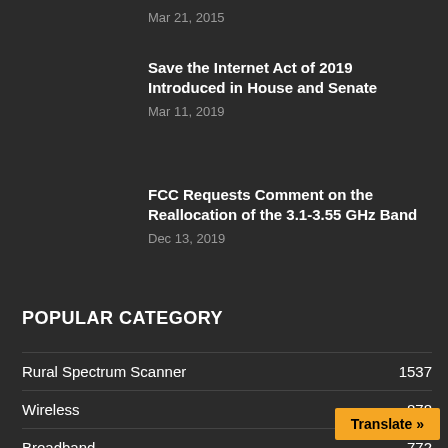Mar 21, 2015
Save the Internet Act of 2019 Introduced in House and Senate
Mar 11, 2019
FCC Requests Comment on the Reallocation of the 3.1-3.55 GHz Band
Dec 13, 2019
POPULAR CATEGORY
Rural Spectrum Scanner 1537
Wireless 878
Broadband 772
Wireline 673
USF
Translate »